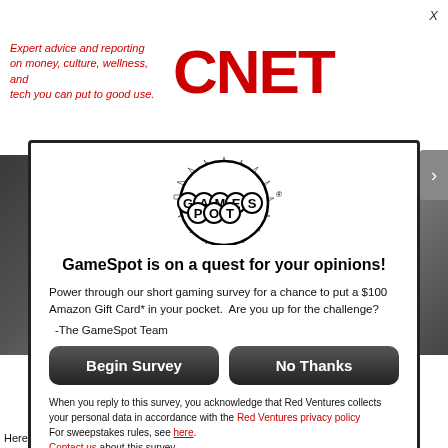Expert advice and reporting on money, culture, wellness, and tech you can put to good use. CNET
[Figure (screenshot): Background screenshot of a dark game scene with text 'Mayan' visible]
[Figure (logo): GameSpot logo with bubble letters and spiky burst border]
GameSpot is on a quest for your opinions!
Power through our short gaming survey for a chance to put a $100 Amazon Gift Card* in your pocket.  Are you up for the challenge?
-The GameSpot Team
Begin Survey
No Thanks
When you reply to this survey, you acknowledge that Red Ventures collects your personal data in accordance with the Red Ventures privacy policy
For sweepstakes rules, see here.
Contact us about this survey.
Here are the full-text article of the game in Dr. Bode's...